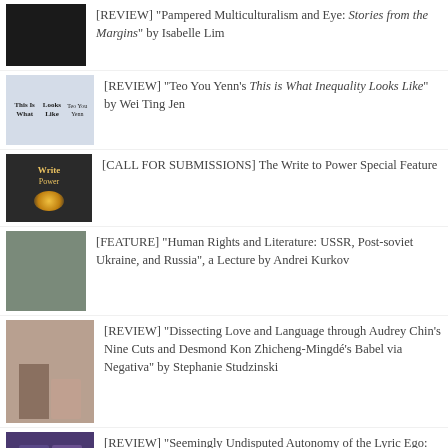[REVIEW] "Pampered Multiculturalism and Eye: Stories from the Margins" by Isabelle Lim
[REVIEW] "Teo You Yenn's This is What Inequality Looks Like" by Wei Ting Jen
[CALL FOR SUBMISSIONS] The Write to Power Special Feature
[FEATURE] "Human Rights and Literature: USSR, Post-soviet Ukraine, and Russia", a Lecture by Andrei Kurkov
[REVIEW] "Dissecting Love and Language through Audrey Chin's Nine Cuts and Desmond Kon Zhicheng-Mingdé's Babel via Negativa" by Stephanie Studzinski
[REVIEW] "Seemingly Undisputed Autonomy of the Lyric Ego: Alvin Pang's What Happened" by Jerome Lim
[REVIEW] "Culture Is That Which Appropriates: A Review of Liang Luo's The Global White Snake" by Noah Arthur Weber
Cha Writing Workshop Series